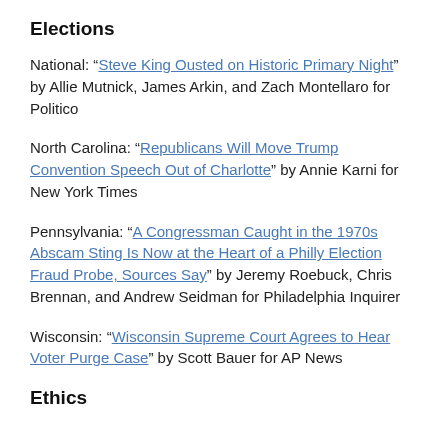Elections
National: “Steve King Ousted on Historic Primary Night” by Allie Mutnick, James Arkin, and Zach Montellaro for Politico
North Carolina: “Republicans Will Move Trump Convention Speech Out of Charlotte” by Annie Karni for New York Times
Pennsylvania: “A Congressman Caught in the 1970s Abscam Sting Is Now at the Heart of a Philly Election Fraud Probe, Sources Say” by Jeremy Roebuck, Chris Brennan, and Andrew Seidman for Philadelphia Inquirer
Wisconsin: “Wisconsin Supreme Court Agrees to Hear Voter Purge Case” by Scott Bauer for AP News
Ethics